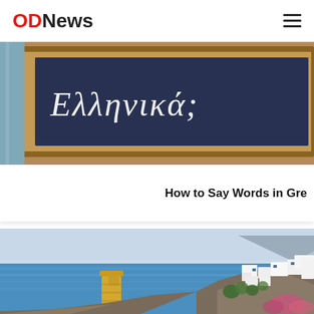ODNews
[Figure (photo): A blackboard/chalkboard with Greek text 'Ελληνικά;' written in chalk, framed in wood, on a wooden surface]
How to Say Words in Gre
[Figure (photo): Aerial view of Santorini, Greece, showing white-washed buildings on cliffs overlooking the blue Aegean Sea, with a yellow wall/ruin in the foreground and pink bougainvillea flowers]